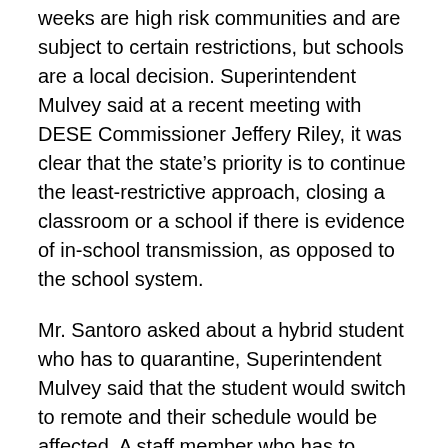weeks are high risk communities and are subject to certain restrictions, but schools are a local decision. Superintendent Mulvey said at a recent meeting with DESE Commissioner Jeffery Riley, it was clear that the state's priority is to continue the least-restrictive approach, closing a classroom or a school if there is evidence of in-school transmission, as opposed to the school system.
Mr. Santoro asked about a hybrid student who has to quarantine, Superintendent Mulvey said that the student would switch to remote and their schedule would be affected. A staff member who has to quarantine would switch to remote teaching and be assisted by a substitute teacher in the classroom monitoring the students. Superintendent Mulvey said the staff has always been flexible, the...